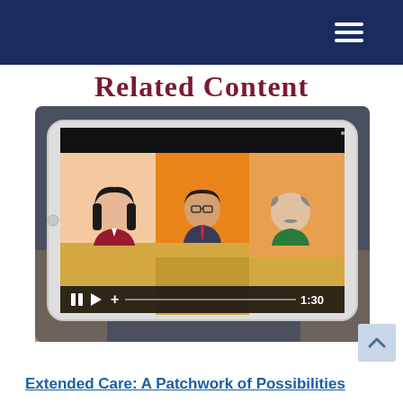Related Content
Related Content
[Figure (screenshot): A tablet device displaying an animated video still showing three illustrated cartoon characters seated behind a panel desk, with colored background panels in orange, peach, and beige. Video player controls are visible at the bottom showing pause, play, add buttons and a timestamp of 1:30.]
Extended Care: A Patchwork of Possibilities